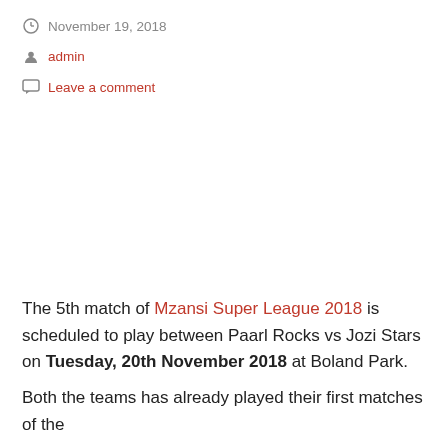November 19, 2018
admin
Leave a comment
The 5th match of Mzansi Super League 2018 is scheduled to play between Paarl Rocks vs Jozi Stars on Tuesday, 20th November 2018 at Boland Park.
Both the teams has already played their first matches of the